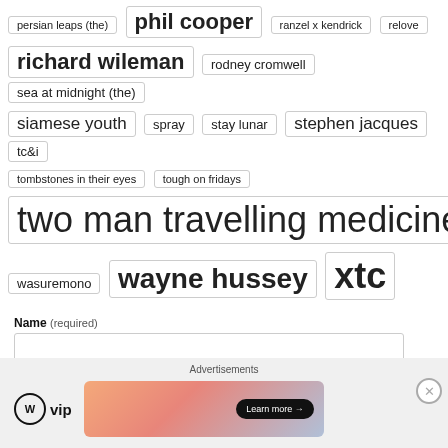persian leaps (the)
phil cooper
ranzel x kendrick
relove
richard wileman
rodney cromwell
sea at midnight (the)
siamese youth
spray
stay lunar
stephen jacques
tc&i
tombstones in their eyes
tough on fridays
two man travelling medicine show
wasuremono
wayne hussey
xtc
Name (required)
Email (required)
Advertisements